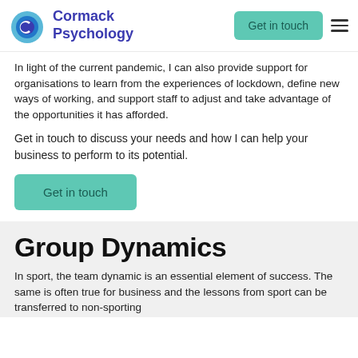Cormack Psychology | Get in touch
In light of the current pandemic, I can also provide support for organisations to learn from the experiences of lockdown, define new ways of working, and support staff to adjust and take advantage of the opportunities it has afforded.
Get in touch to discuss your needs and how I can help your business to perform to its potential.
Get in touch
Group Dynamics
In sport, the team dynamic is an essential element of success. The same is often true for business and the lessons from sport can be transferred to non-sporting